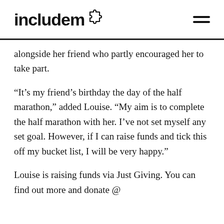includem
alongside her friend who partly encouraged her to take part.
“It’s my friend’s birthday the day of the half marathon,” added Louise. “My aim is to complete the half marathon with her. I’ve not set myself any set goal. However, if I can raise funds and tick this off my bucket list, I will be very happy.”
Louise is raising funds via Just Giving. You can find out more and donate @